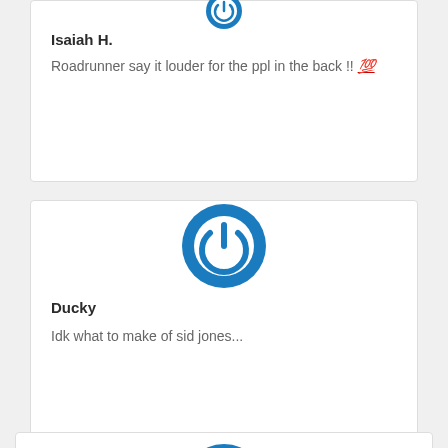[Figure (illustration): Blue power/user avatar icon, partially visible at top of first card]
Isaiah H.
Roadrunner say it louder for the ppl in the back !! 💯
[Figure (illustration): Blue circular power button avatar icon for user Ducky]
Ducky
Idk what to make of sid jones...
[Figure (illustration): Blue circular power button avatar icon, partially visible at bottom of page]